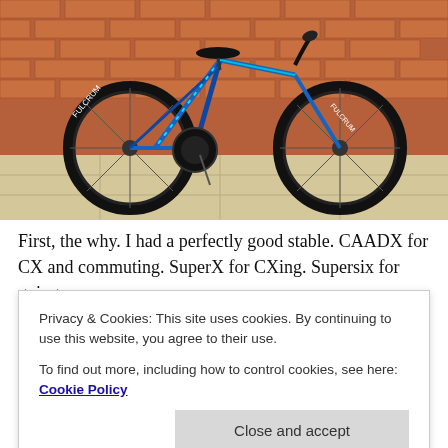[Figure (photo): A blue and cyan road/cyclocross bicycle leaning against a red brick wall on a paved surface. The bike has disc brakes, drop handlebars, and branded tires.]
First, the why. I had a perfectly good stable. CAADX for CX and commuting. SuperX for CXing. Supersix for going
Privacy & Cookies: This site uses cookies. By continuing to use this website, you agree to their use.
To find out more, including how to control cookies, see here: Cookie Policy
and you might think this to be a silly minor issue, I